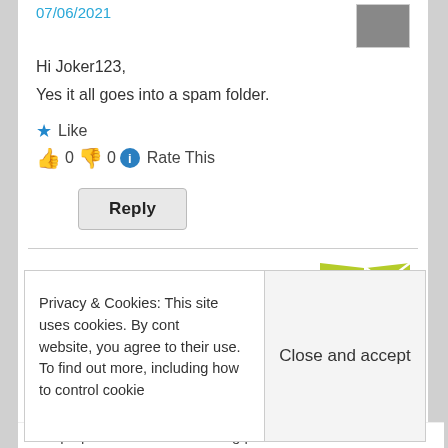07/06/2021
[Figure (photo): Small avatar photo of a person]
Hi Joker123,
Yes it all goes into a spam folder.
★ Like
👍 0 👎 0 ℹ Rate This
Reply
bandar joker123 judi slot
Privacy & Cookies: This site uses cookies. By cont website, you agree to their use. To find out more, including how to control cookie
Close and accept
keep updated with forthcoming post.